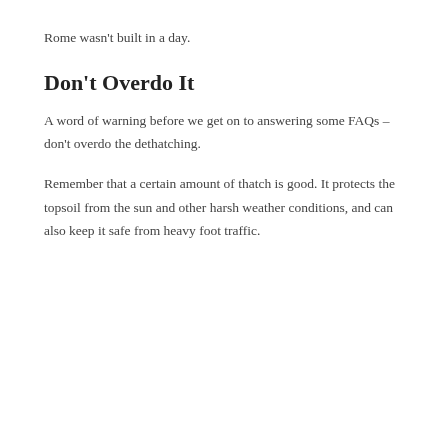Rome wasn't built in a day.
Don't Overdo It
A word of warning before we get on to answering some FAQs – don't overdo the dethatching.
Remember that a certain amount of thatch is good. It protects the topsoil from the sun and other harsh weather conditions, and can also keep it safe from heavy foot traffic.